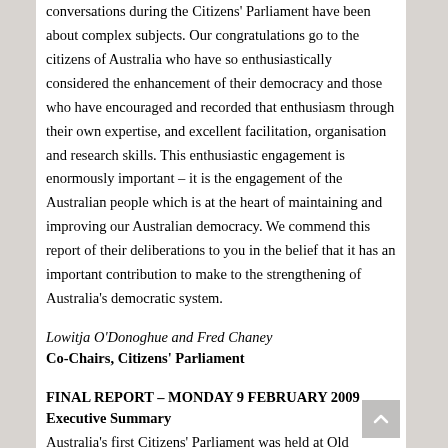conversations during the Citizens' Parliament have been about complex subjects. Our congratulations go to the citizens of Australia who have so enthusiastically considered the enhancement of their democracy and those who have encouraged and recorded that enthusiasm through their own expertise, and excellent facilitation, organisation and research skills. This enthusiastic engagement is enormously important – it is the engagement of the Australian people which is at the heart of maintaining and improving our Australian democracy. We commend this report of their deliberations to you in the belief that it has an important contribution to make to the strengthening of Australia's democratic system.
Lowitja O'Donoghue and Fred Chaney
Co-Chairs, Citizens' Parliament
FINAL REPORT – MONDAY 9 FEBRUARY 2009
Executive Summary
Australia's first Citizens' Parliament was held at Old Parliament